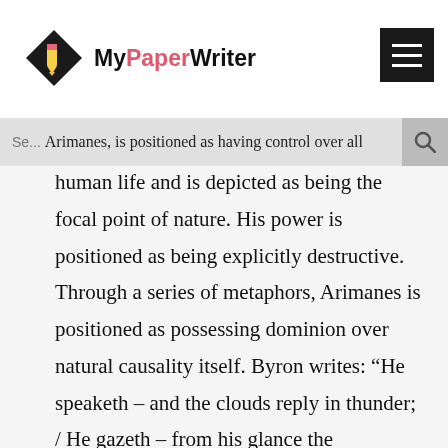The scene opens with a traditional hymn of praise given in blank verse to a supreme power. This power, named Arimanes, is positioned as having control over all
[Figure (logo): MyPaperWriter logo: black diamond shape with pencil icon, text 'MyPaperWriter' with 'Paper' in red/pink]
human life and is depicted as being the focal point of nature. His power is positioned as being explicitly destructive. Through a series of metaphors, Arimanes is positioned as possessing dominion over natural causality itself. Byron writes: “He speaketh – and the clouds reply in thunder; / He gazeth – from his glance the sunnbeams flee; / He moveth – earthquakes rend the world asunder” (2008, 283) The combination and repetition of these metaphors, in which each line beings with the word “He” and ends with a description of natural force or